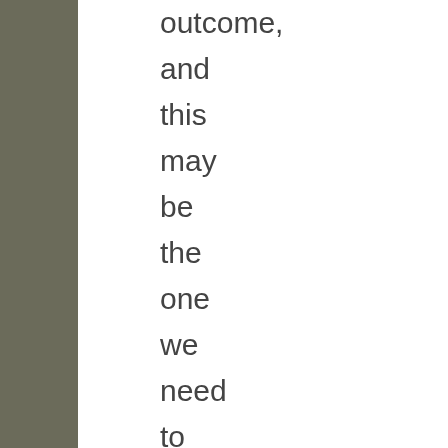outcome, and this may be the one we need to keep in front of us in order to maintain our sense of urgency, of complexity,